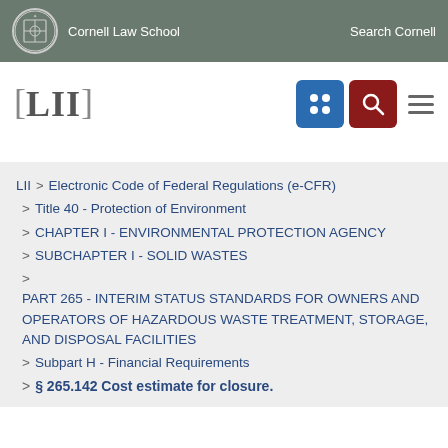Cornell Law School   Search Cornell
[Figure (logo): LII Legal Information Institute logo with navigation icons]
LII > Electronic Code of Federal Regulations (e-CFR) > Title 40 - Protection of Environment > CHAPTER I - ENVIRONMENTAL PROTECTION AGENCY > SUBCHAPTER I - SOLID WASTES > PART 265 - INTERIM STATUS STANDARDS FOR OWNERS AND OPERATORS OF HAZARDOUS WASTE TREATMENT, STORAGE, AND DISPOSAL FACILITIES > Subpart H - Financial Requirements > § 265.142 Cost estimate for closure.